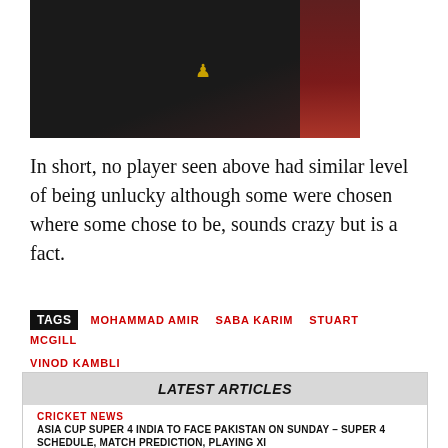[Figure (photo): Partial photo of a person in a dark suit jacket with a small yellow emblem, with a reddish accent on the right side of the image.]
In short, no player seen above had similar level of being unlucky although some were chosen where some chose to be, sounds crazy but is a fact.
TAGS  MOHAMMAD AMIR  SABA KARIM  STUART MCGILL  VINOD KAMBLI
LATEST ARTICLES
CRICKET NEWS
ASIA CUP SUPER 4 INDIA TO FACE PAKISTAN ON SUNDAY – SUPER 4 SCHEDULE, MATCH PREDICTION, PLAYING XI
In the Asia Cup 2022, the teams of India and Pakistan are going